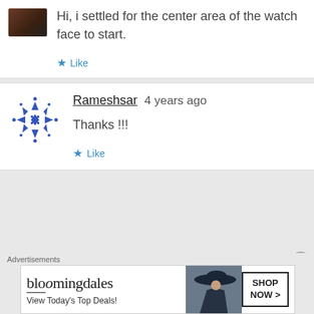Hi, i settled for the center area of the watch face to start.
Like
Rameshsar  4 years ago
Thanks !!!
Like
Advertisements
[Figure (screenshot): Bloomingdales advertisement banner: 'bloomingdales View Today's Top Deals! SHOP NOW >']